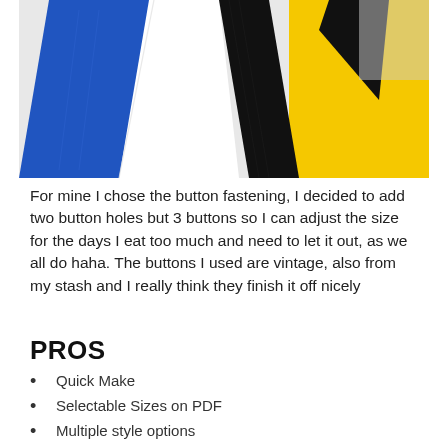[Figure (photo): Close-up photo of colorblock fabric with blue, black, white, and yellow sections, showing the detail of a sewing project with geometric color blocking.]
For mine I chose the button fastening, I decided to add two button holes but 3 buttons so I can adjust the size for the days I eat too much and need to let it out, as we all do haha. The buttons I used are vintage, also from my stash and I really think they finish it off nicely
PROS
Quick Make
Selectable Sizes on PDF
Multiple style options
Easy to fit
Flattering